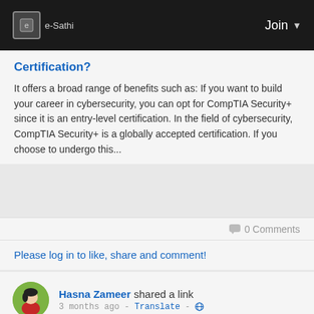e-Sathi  Join
Certification?
It offers a broad range of benefits such as: If you want to build your career in cybersecurity, you can opt for CompTIA Security+ since it is an entry-level certification. In the field of cybersecurity, CompTIA Security+ is a globally accepted certification. If you choose to undergo this...
0 Comments
Please log in to like, share and comment!
Hasna Zameer shared a link
3 months ago - Translate -
Cyber Security Awareness